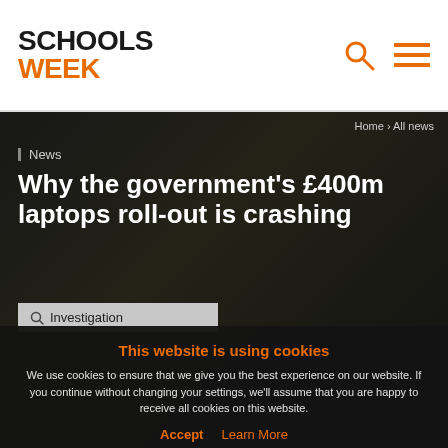SCHOOLS WEEK
Home › All news
News
Why the government's £400m laptops roll-out is crashing
Investigation
This website is using cookies
We use cookies to ensure that we give you the best experience on our website. If you continue without changing your settings, we'll assume that you are happy to receive all cookies on this website.
Accept   Learn More